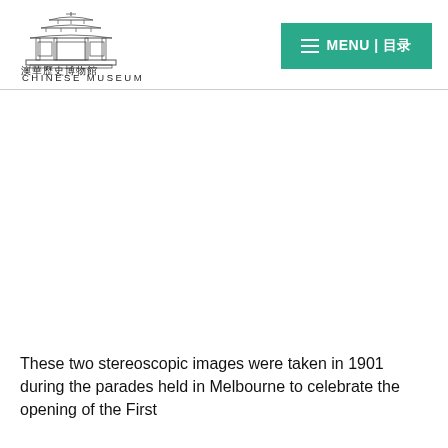[Figure (logo): Chinese Museum logo with traditional Chinese gate illustration, Chinese characters 澳華歷史博物館 and text CHINESE MUSEUM below]
[Figure (other): Navigation menu button with green background showing hamburger icon and text MENU | 目录]
[Figure (photo): Large white/blank image area occupying the middle of the page]
These two stereoscopic images were taken in 1901 during the parades held in Melbourne to celebrate the opening of the First